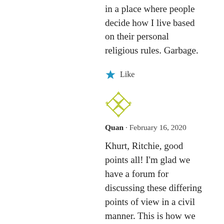in a place where people decide how I live based on their personal religious rules. Garbage.
Like
[Figure (illustration): Yellow-green decorative avatar icon made of diamond/geometric shapes]
Quan · February 16, 2020
Khurt, Ritchie, good points all! I'm glad we have a forum for discussing these differing points of view in a civil manner. This is how we learn. If you review my posts, you will see that I have never unfairly treated Suzuki. I don't agree with his methods, and I've stated my reasoning, but that's it. Other forums